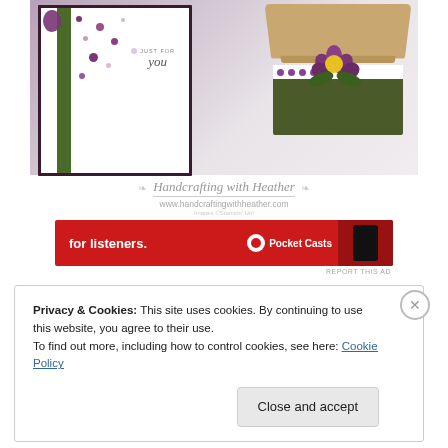[Figure (photo): Handcrafted greeting card with purple flower and green stem on a dark purple bordered white card with polka dots, and a kraft box with olive green base decorated with a purple flower, on a white surface. Watermark reads 'Handcrafting with Heather' and 'www.handcraftingwithheather.com'. Images © Stampin' Up!]
[Figure (screenshot): Red advertisement banner for Pocket Casts podcast app, showing 'for listeners.' text on the left and 'Pocket Casts' logo on the right with a phone image.]
REPORT THIS AD
Privacy & Cookies: This site uses cookies. By continuing to use this website, you agree to their use.
To find out more, including how to control cookies, see here: Cookie Policy
Close and accept